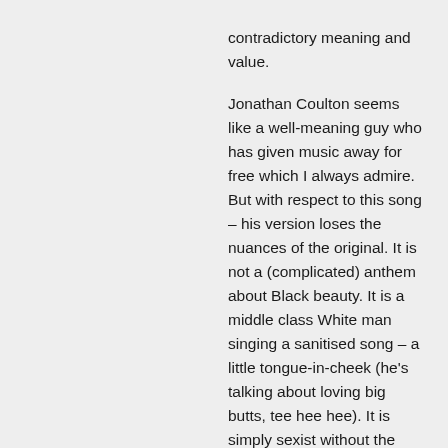contradictory meaning and value.

Jonathan Coulton seems like a well-meaning guy who has given music away for free which I always admire. But with respect to this song – his version loses the nuances of the original. It is not a (complicated) anthem about Black beauty. It is a middle class White man singing a sanitised song – a little tongue-in-cheek (he's talking about loving big butts, tee hee hee). It is simply sexist without the complicated race politics and unfortunately, veers closely to the clueless hipster racism that is so ubiquitous in pop culture. Pop music crosses social boundaries; it is not